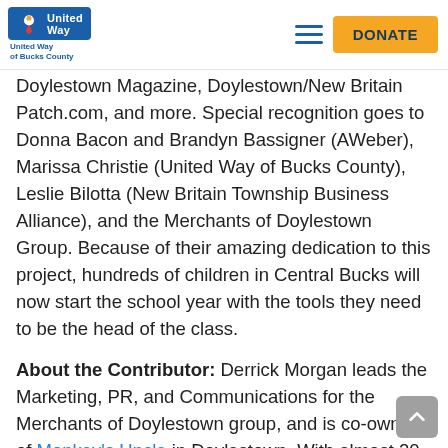United Way of Bucks County — DONATE
Doylestown Magazine, Doylestown/New Britain Patch.com, and more. Special recognition goes to Donna Bacon and Brandyn Bassigner (AWeber), Marissa Christie (United Way of Bucks County), Leslie Bilotta (New Britain Township Business Alliance), and the Merchants of Doylestown Group. Because of their amazing dedication to this project, hundreds of children in Central Bucks will now start the school year with the tools they need to be the head of the class.
About the Contributor: Derrick Morgan leads the Marketing, PR, and Communications for the Merchants of Doylestown group, and is co-owner of Monkey's Uncle in Doylestown. With almost 20 years of experience in marketing, retail, training, and non-profit work, Derrick has been able to share his knowledge to help grow the